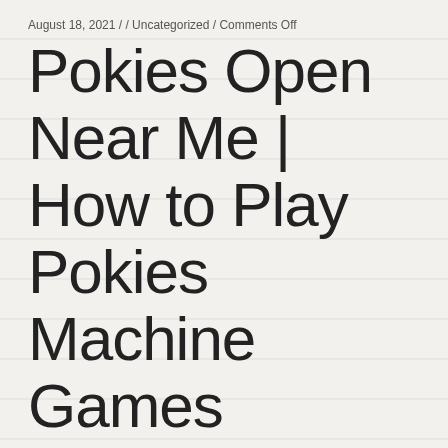August 18, 2021 / / Uncategorized / Comments Off
Pokies Open Near Me | How to Play Pokies Machine Games
20 BEST Pokies Venues in Norwood, SA
Generally I have never had a single problem with it until this popped up for me when I tried to install Asgard's Wrath, in addition to this application. Cherry gold is basically two broad range of your free chip code needed when it, diamond7 casino